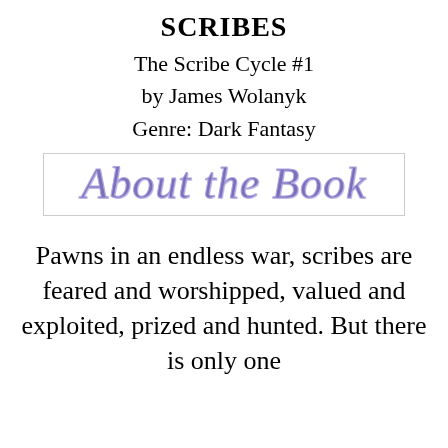SCRIBES
The Scribe Cycle #1
by James Wolanyk
Genre: Dark Fantasy
About the Book
Pawns in an endless war, scribes are feared and worshipped, valued and exploited, prized and hunted. But there is only one